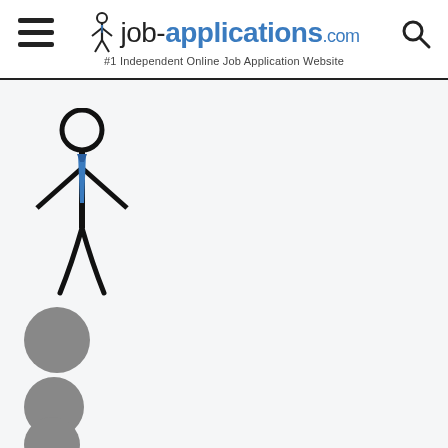job-applications.com #1 Independent Online Job Application Website
[Figure (illustration): Stick figure person with blue tie (business person icon), followed by three gray circles below]
[Figure (logo): job-applications.com logo with stick figure icon and tagline #1 Independent Online Job Application Website]